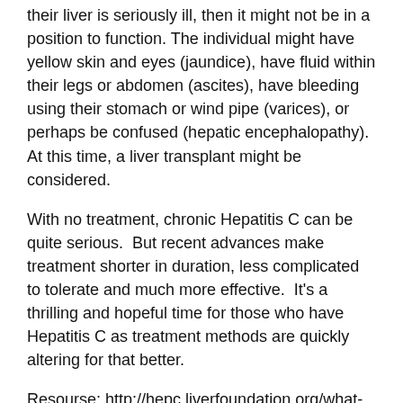their liver is seriously ill, then it might not be in a position to function. The individual might have yellow skin and eyes (jaundice), have fluid within their legs or abdomen (ascites), have bleeding using their stomach or wind pipe (varices), or perhaps be confused (hepatic encephalopathy). At this time, a liver transplant might be considered.
With no treatment, chronic Hepatitis C can be quite serious. But recent advances make treatment shorter in duration, less complicated to tolerate and much more effective. It's a thrilling and hopeful time for those who have Hepatitis C as treatment methods are quickly altering for that better.
Resourse: http://hepc.liverfoundation.org/what-is-hepatitis-c/what-can-happen-complications-of-hep-c/
Hepatitis C Made Easy